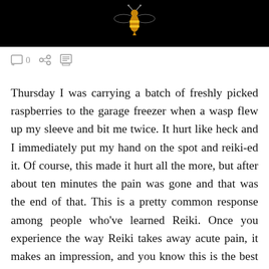[Figure (photo): Dark/black banner image at top of page showing a wasp/bee with decorative elements on a black background]
[Figure (infographic): Toolbar row with comment icon showing '0', a share icon, and a print/text icon in gray]
Thursday I was carrying a batch of freshly picked raspberries to the garage freezer when a wasp flew up my sleeve and bit me twice. It hurt like heck and I immediately put my hand on the spot and reiki-ed it. Of course, this made it hurt all the more, but after about ten minutes the pain was gone and that was the end of that. This is a pretty common response among people who've learned Reiki. Once you experience the way Reiki takes away acute pain, it makes an impression, and you know this is the best first-aid you've got. But I know a lot of people whose use of Reiki stops with first-aid...